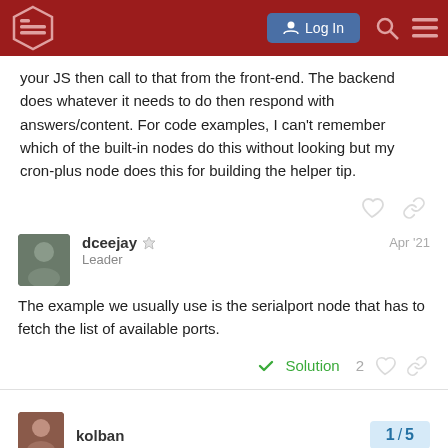Node-RED Forum navigation bar with Log In button
your JS then call to that from the front-end. The backend does whatever it needs to do then respond with answers/content. For code examples, I can't remember which of the built-in nodes do this without looking but my cron-plus node does this for building the helper tip.
dceejay  Leader  Apr '21
The example we usually use is the serialport node that has to fetch the list of available ports.
kolban  1 / 5